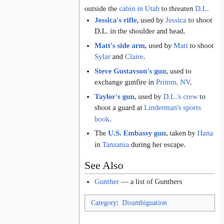outside the cabin in Utah to threaten D.L.
Jessica's rifle, used by Jessica to shoot D.L. in the shoulder and head.
Matt's side arm, used by Matt to shoot Sylar and Claire.
Steve Gustavson's gun, used to exchange gunfire in Primm, NV.
Taylor's gun, used by D.L.'s crew to shoot a guard at Linderman's sports book.
The U.S. Embassy gun, taken by Hana in Tanzania during her escape.
See Also
Gunther — a list of Gunthers
Category: Disambiguation